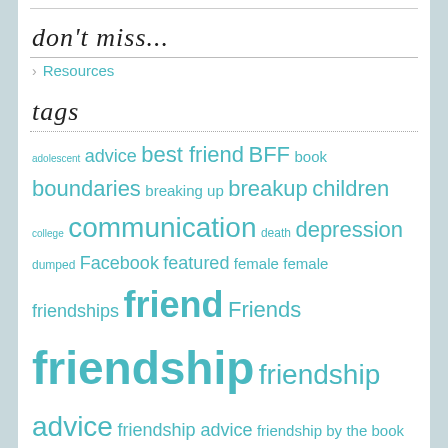don't miss...
Resources
tags
adolescent advice best friend BFF book boundaries breaking up breakup children college communication death depression dumped Facebook featured female female friendships friend Friends friendship friendship advice friendship advice friendship by the book friendship expert high school in the media Irene S. Levine Loneliness making friends marriage money moving no friends parenting reader Q & A research school teen the Friendship Doctor time toxic